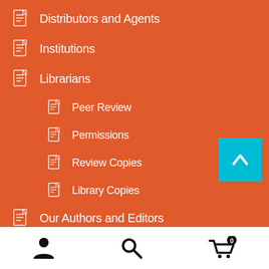Distributors and Agents
Institutions
Librarians
Peer Review
Permissions
Review Copies
Library Copies
Our Authors and Editors
Online Books
Submit a Book Proposal
[Figure (infographic): Teal back-to-top arrow button in bottom right corner]
[Figure (infographic): Bottom navigation bar with user icon, search icon, and cart icon with badge 0]